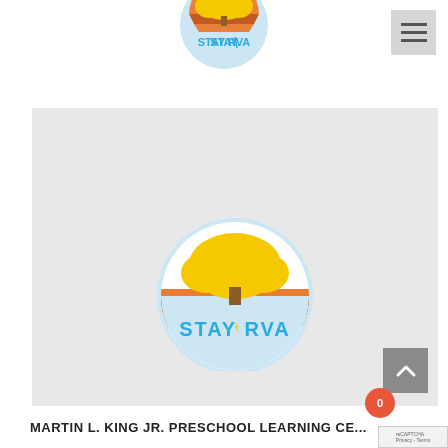[Figure (logo): STAY RVA circular logo with yellow tree, orange/brown stripes, blue text on light blue background - top navigation bar version (partially cropped at top)]
[Figure (logo): STAY RVA circular logo with yellow tree, orange/brown layered semicircle, blue STAY RVA text on light blue circular background - main content area version]
MARTIN L. KING JR. PRESCHOOL LEARNING CE...